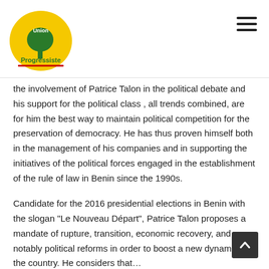[Figure (logo): Union Progressiste logo: yellow circle with green tree and text 'Union Progressiste' with a red underline]
the involvement of Patrice Talon in the political debate and his support for the political class , all trends combined, are for him the best way to maintain political competition for the preservation of democracy. He has thus proven himself both in the management of his companies and in supporting the initiatives of the political forces engaged in the establishment of the rule of law in Benin since the 1990s.
Candidate for the 2016 presidential elections in Benin with the slogan "Le Nouveau Départ", Patrice Talon proposes a mandate of rupture, transition, economic recovery, and notably political reforms in order to boost a new dynamic in the country. He considers that...